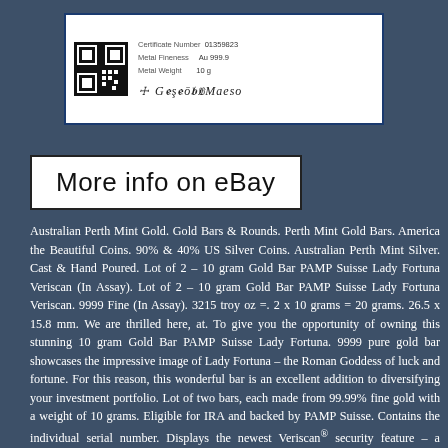[Figure (photo): Certificate card showing QR code, certificate number 01359823, Metal Fineness Au 999.9, Metal Weight 10g, with signatures]
[Figure (screenshot): More info on eBay button - white rectangle with black border and black text]
Australian Perth Mint Gold. Gold Bars & Rounds. Perth Mint Gold Bars. America the Beautiful Coins. 90% & 40% US Silver Coins. Australian Perth Mint Silver. Cast & Hand Poured. Lot of 2 – 10 gram Gold Bar PAMP Suisse Lady Fortuna Veriscan (In Assay). Lot of 2 – 10 gram Gold Bar PAMP Suisse Lady Fortuna Veriscan. 9999 Fine (In Assay). 3215 troy oz =. 2 x 10 grams = 20 grams. 26.5 x 15.8 mm. We are thrilled here, at. To give you the opportunity of owning this stunning 10 gram Gold Bar PAMP Suisse Lady Fortuna. 9999 pure gold bar showcases the impressive image of Lady Fortuna – the Roman Goddess of luck and fortune. For this reason, this wonderful bar is an excellent addition to diversifying your investment portfolio. Lot of two bars, each made from 99.99% fine gold with a weight of 10 grams. Eligible for IRA and backed by PAMP Suisse. Contains the individual serial number. Displays the newest Veriscan® security feature – a particular microscopic surface topography that is attributed to each bar. This individual digital fingerprint is registered in PAMP's special catalog for further authentication. Obverse: Displays the famous image of "Lady Luck" – the Lady Fortuna. The Roman Goddess of fortune and chance is also considered the protector of grain